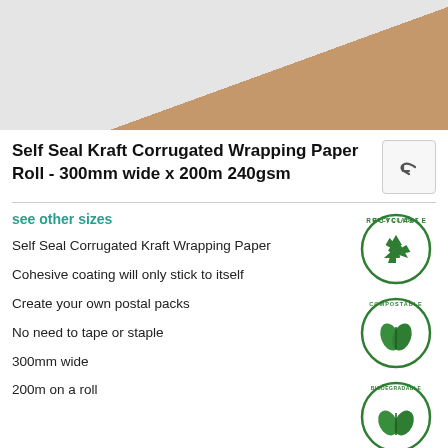[Figure (photo): Product photo showing kraft corrugated wrapping paper roll, white and brown kraft paper visible]
Self Seal Kraft Corrugated Wrapping Paper Roll - 300mm wide x 200m 240gsm
see other sizes
Self Seal Corrugated Kraft Wrapping Paper
Cohesive coating will only stick to itself
Create your own postal packs
No need to tape or staple
300mm wide
200m on a roll
[Figure (illustration): Recyclable circular badge/stamp in green]
[Figure (illustration): Compostable circular badge/stamp in green]
[Figure (illustration): Biodegradable circular badge/stamp in green]